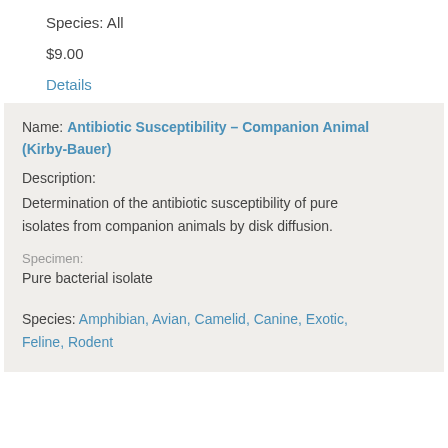Species: All
$9.00
Details
Name: Antibiotic Susceptibility – Companion Animal (Kirby-Bauer)
Description:
Determination of the antibiotic susceptibility of pure isolates from companion animals by disk diffusion.
Specimen:
Pure bacterial isolate
Species: Amphibian, Avian, Camelid, Canine, Exotic, Feline, Rodent